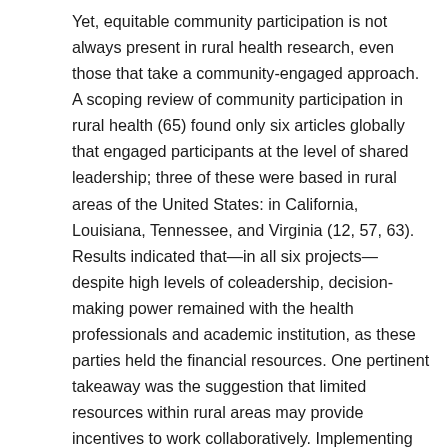Yet, equitable community participation is not always present in rural health research, even those that take a community-engaged approach. A scoping review of community participation in rural health (65) found only six articles globally that engaged participants at the level of shared leadership; three of these were based in rural areas of the United States: in California, Louisiana, Tennessee, and Virginia (12, 57, 63). Results indicated that—in all six projects—despite high levels of coleadership, decision-making power remained with the health professionals and academic institution, as these parties held the financial resources. One pertinent takeaway was the suggestion that limited resources within rural areas may provide incentives to work collaboratively. Implementing community-engaged research in rural areas with increasing diversity must also consider balancing attention to the different experiences of different health disparities populations (rural-only disparities versus rural intersected with race, ethnicity, or gender disparities) (93) and reflecting on the opportunities for meaningful engagement with newly arrived community